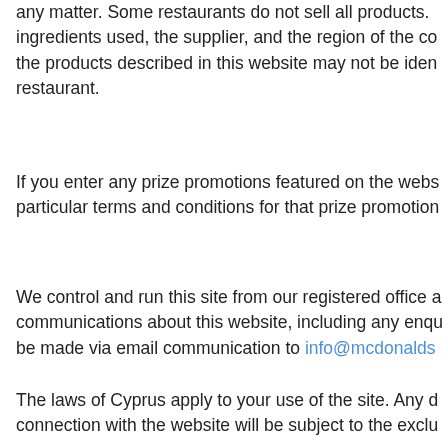any matter. Some restaurants do not sell all products. ingredients used, the supplier, and the region of the co the products described in this website may not be iden restaurant.
If you enter any prize promotions featured on the webs particular terms and conditions for that prize promotion
We control and run this site from our registered office a communications about this website, including any enqu be made via email communication to info@mcdonalds
The laws of Cyprus apply to your use of the site. Any d connection with the website will be subject to the exclu